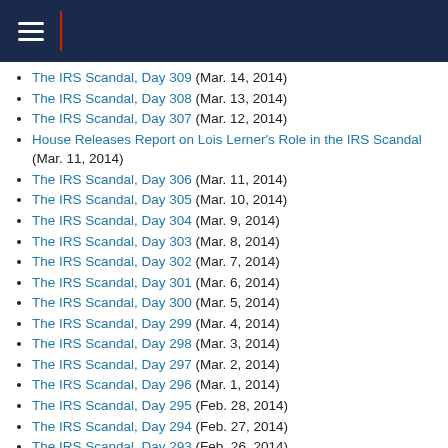Navigation header bar
The IRS Scandal, Day 309 (Mar. 14, 2014)
The IRS Scandal, Day 308 (Mar. 13, 2014)
The IRS Scandal, Day 307 (Mar. 12, 2014)
House Releases Report on Lois Lerner's Role in the IRS Scandal (Mar. 11, 2014)
The IRS Scandal, Day 306 (Mar. 11, 2014)
The IRS Scandal, Day 305 (Mar. 10, 2014)
The IRS Scandal, Day 304 (Mar. 9, 2014)
The IRS Scandal, Day 303 (Mar. 8, 2014)
The IRS Scandal, Day 302 (Mar. 7, 2014)
The IRS Scandal, Day 301 (Mar. 6, 2014)
The IRS Scandal, Day 300 (Mar. 5, 2014)
The IRS Scandal, Day 299 (Mar. 4, 2014)
The IRS Scandal, Day 298 (Mar. 3, 2014)
The IRS Scandal, Day 297 (Mar. 2, 2014)
The IRS Scandal, Day 296 (Mar. 1, 2014)
The IRS Scandal, Day 295 (Feb. 28, 2014)
The IRS Scandal, Day 294 (Feb. 27, 2014)
The IRS Scandal, Day 293 (Feb. 26, 2014)
The IRS Scandal, Day 292 (Feb. 25, 2014)
The IRS Scandal, Day 291 (Feb. 24, 2014)